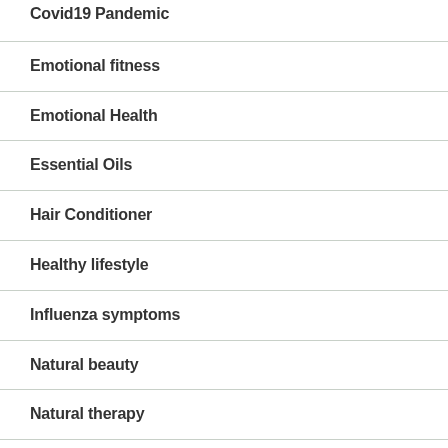Covid19 Pandemic
Emotional fitness
Emotional Health
Essential Oils
Hair Conditioner
Healthy lifestyle
Influenza symptoms
Natural beauty
Natural therapy
Nutraceuticals
Nutrition
Plant Knowledge